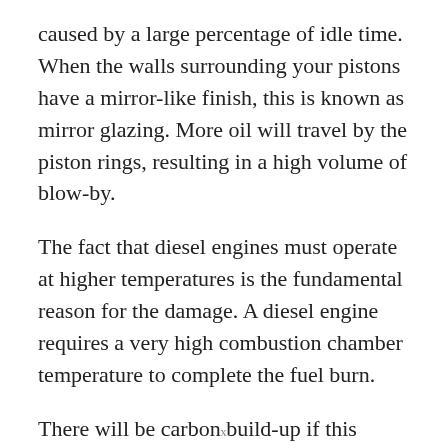caused by a large percentage of idle time. When the walls surrounding your pistons have a mirror-like finish, this is known as mirror glazing. More oil will travel by the piston rings, resulting in a high volume of blow-by.
The fact that diesel engines must operate at higher temperatures is the fundamental reason for the damage. A diesel engine requires a very high combustion chamber temperature to complete the fuel burn.
There will be carbon build-up if this temperature is not maintained. Carbon accumulation is
x